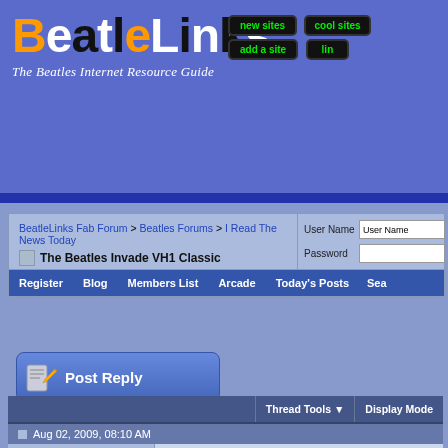BeatleLinks - The Beatles Internet Resource Guide
BeatleLinks Fab Forum > Beatles Forums > I Read The News Today
The Beatles Invade VH1 Classic
User Name | Password | Remember | Log in
Register | Blog | Members List | Arcade | Today's Posts | Sea...
[Figure (screenshot): Post Reply button with pencil/paper icon]
Thread Tools | Display Mode
Aug 02, 2009, 08:10 AM
JonnyLytnin
Rocky Raccoon
The Beatles Invade VH1 Classic
From VH1.com: